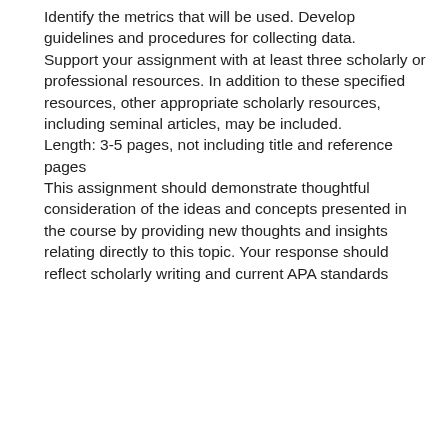Identify the metrics that will be used. Develop guidelines and procedures for collecting data. Support your assignment with at least three scholarly or professional resources. In addition to these specified resources, other appropriate scholarly resources, including seminal articles, may be included. Length: 3-5 pages, not including title and reference pages This assignment should demonstrate thoughtful consideration of the ideas and concepts presented in the course by providing new thoughts and insights relating directly to this topic. Your response should reflect scholarly writing and current APA standards